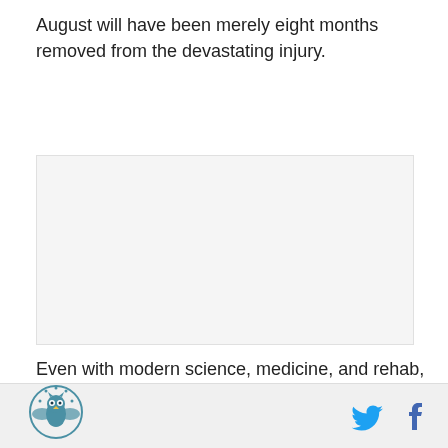August will have been merely eight months removed from the devastating injury.
[Figure (other): Advertisement or embedded image placeholder — white/light gray empty rectangle]
Even with modern science, medicine, and rehab, a year is still the normal benchmark for a player to regain
Site logo (owl emblem), Twitter icon, Facebook icon